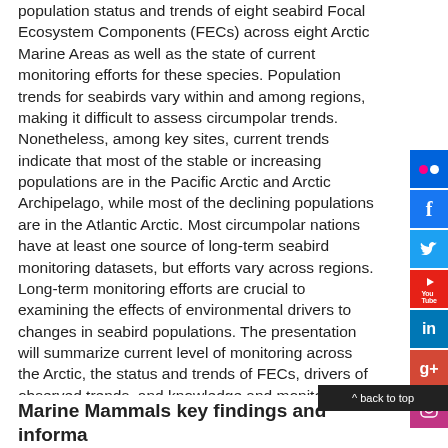population status and trends of eight seabird Focal Ecosystem Components (FECs) across eight Arctic Marine Areas as well as the state of current monitoring efforts for these species. Population trends for seabirds vary within and among regions, making it difficult to assess circumpolar trends. Nonetheless, among key sites, current trends indicate that most of the stable or increasing populations are in the Pacific Arctic and Arctic Archipelago, while most of the declining populations are in the Atlantic Arctic. Most circumpolar nations have at least one source of long-term seabird monitoring datasets, but efforts vary across regions. Long-term monitoring efforts are crucial to examining the effects of environmental drivers to changes in seabird populations. The presentation will summarize current level of monitoring across the Arctic, the status and trends of FECs, drivers of observed trends, and knowledge and monitoring gaps.
Marine Mammals key findings and informa...